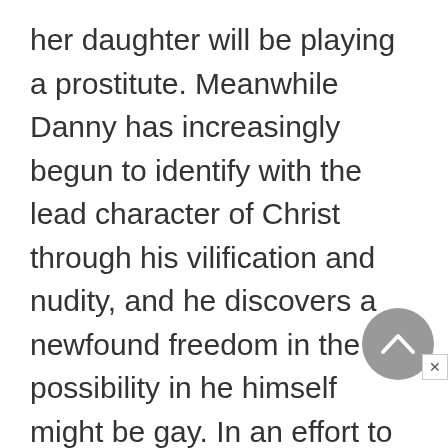her daughter will be playing a prostitute. Meanwhile Danny has increasingly begun to identify with the lead character of Christ through his vilification and nudity, and he discovers a newfound freedom in the possibility in he himself might be gay. In an effort to obtain the lead role for himself, Danny concocts a plan to sabotage the other Jesus candidates, however he must first overcome his incredible shyness and tendency to stutter before he can take the stage. In